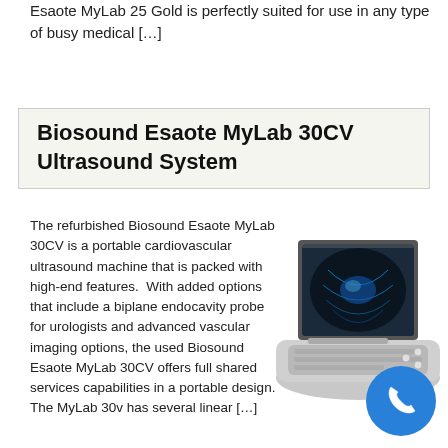Esaote MyLab 25 Gold is perfectly suited for use in any type of busy medical […]
Biosound Esaote MyLab 30CV Ultrasound System
The refurbished Biosound Esaote MyLab 30CV is a portable cardiovascular ultrasound machine that is packed with high-end features.  With added options that include a biplane endocavity probe for urologists and advanced vascular imaging options, the used Biosound Esaote MyLab 30CV offers full shared services capabilities in a portable design. The MyLab 30v has several linear […]
[Figure (photo): Photo of a Biosound Esaote MyLab 30CV portable ultrasound machine, a laptop-style device with a monitor showing an ultrasound image and a keyboard/control panel.]